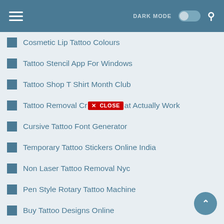DARK MODE [toggle] [search]
Cosmetic Lip Tattoo Colours
Tattoo Stencil App For Windows
Tattoo Shop T Shirt Month Club
Tattoo Removal Cr [CLOSE] at Actually Work
Cursive Tattoo Font Generator
Temporary Tattoo Stickers Online India
Non Laser Tattoo Removal Nyc
Pen Style Rotary Tattoo Machine
Buy Tattoo Designs Online
Tattoo Removal Cost Near Me
Three Kings Tattoo London
Tattoo Liner Needle Depth
Female Tattoo Artists Houston